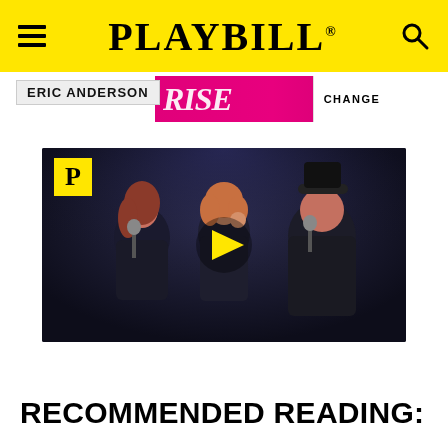PLAYBILL
ERIC ANDERSON
[Figure (screenshot): Video thumbnail showing three performers on stage with a Playbill P logo in the upper left corner and a yellow play button in the center. The performers are dressed in dark clothing and appear to be singing on a darkly lit stage.]
RECOMMENDED READING: